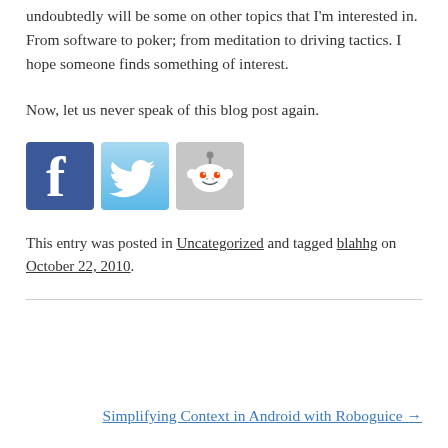undoubtedly will be some on other topics that I'm interested in. From software to poker; from meditation to driving tactics. I hope someone finds something of interest.
Now, let us never speak of this blog post again.
[Figure (illustration): Social sharing icons for Facebook, Twitter, and Reddit displayed in a row]
This entry was posted in Uncategorized and tagged blahhg on October 22, 2010.
Simplifying Context in Android with Roboguice →